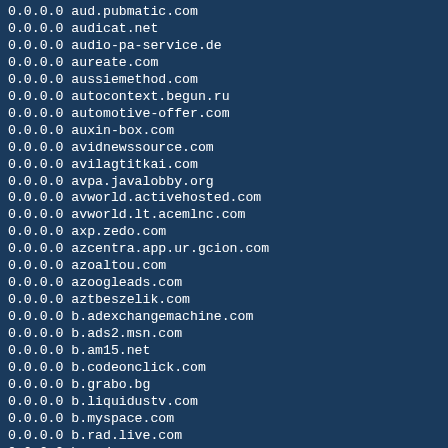0.0.0.0 aud.pubmatic.com
0.0.0.0 audicat.net
0.0.0.0 audio-pa-service.de
0.0.0.0 aureate.com
0.0.0.0 aussiemethod.com
0.0.0.0 autocontext.begun.ru
0.0.0.0 automotive-offer.com
0.0.0.0 auxin-box.com
0.0.0.0 avidnewssource.com
0.0.0.0 avilagtitkai.com
0.0.0.0 avpa.javalobby.org
0.0.0.0 avworld.activehosted.com
0.0.0.0 avworld.lt.acemlnc.com
0.0.0.0 axp.zedo.com
0.0.0.0 azcentra.app.ur.gcion.com
0.0.0.0 azoaltou.com
0.0.0.0 azoogleads.com
0.0.0.0 aztbeszelik.com
0.0.0.0 b.adexchangemachine.com
0.0.0.0 b.ads2.msn.com
0.0.0.0 b.am15.net
0.0.0.0 b.codeonclick.com
0.0.0.0 b.grabo.bg
0.0.0.0 b.liquidustv.com
0.0.0.0 b.myspace.com
0.0.0.0 b.rad.live.com
0.0.0.0 b.rad.msn.com
0.0.0.0 b.recwwcc5.info
0.0.0.0 b1fe8a95ae27823.com
0.0.0.0 b34rightym.com
0.0.0.0 b400393baba7cd476a3.com
0.0.0.0 babanetwork.adk2x.com